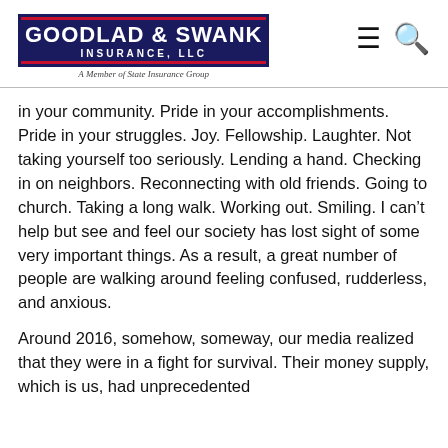GOODLAD & SWANK INSURANCE, LLC — A Member of State Insurance Group
in your community. Pride in your accomplishments. Pride in your struggles. Joy. Fellowship. Laughter. Not taking yourself too seriously. Lending a hand. Checking in on neighbors. Reconnecting with old friends. Going to church. Taking a long walk. Working out. Smiling. I can't help but see and feel our society has lost sight of some very important things. As a result, a great number of people are walking around feeling confused, rudderless, and anxious.
Around 2016, somehow, someway, our media realized that they were in a fight for survival. Their money supply, which is us, had unprecedented